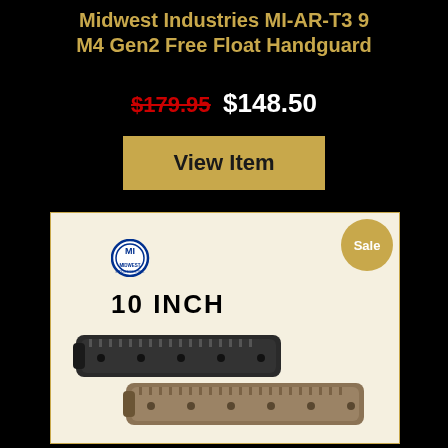Midwest Industries MI-AR-T3 9 M4 Gen2 Free Float Handguard
$179.95  $148.50
View Item
[Figure (photo): Product image of Midwest Industries Gen3 T-Series Quad Rail 10 Inch handguard shown in black and tan variants, with a 'Sale' badge in the top right corner.]